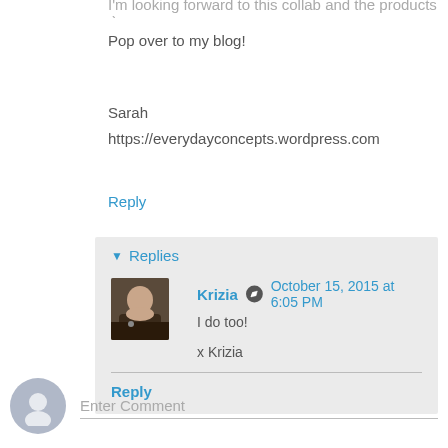I'm looking forward to this collab and the products :)
Pop over to my blog!
Sarah
https://everydayconcepts.wordpress.com
Reply
Replies
Krizia  October 15, 2015 at 6:05 PM
I do too!

x Krizia
Reply
Enter Comment